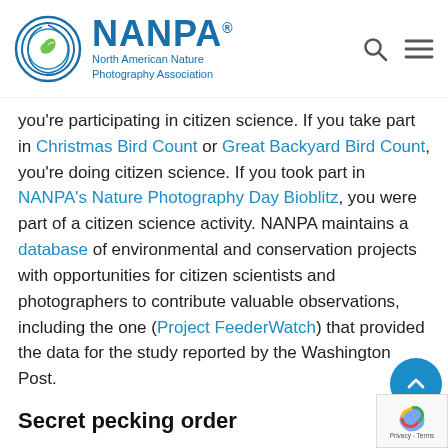[Figure (logo): NANPA - North American Nature Photography Association logo with circular swirl graphic and leaf icon]
you're participating in citizen science. If you take part in Christmas Bird Count or Great Backyard Bird Count, you're doing citizen science. If you took part in NANPA's Nature Photography Day Bioblitz, you were part of a citizen science activity. NANPA maintains a database of environmental and conservation projects with opportunities for citizen scientists and photographers to contribute valuable observations, including the one (Project FeederWatch) that provided the data for the study reported by the Washington Post.
Secret pecking order